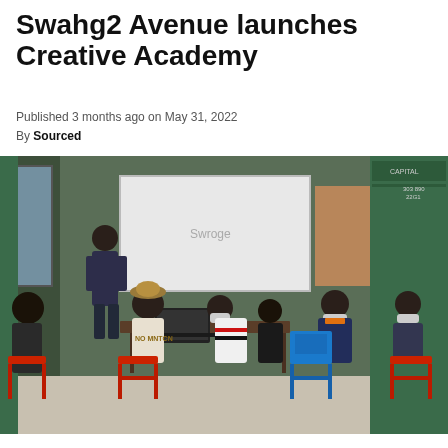Swahg2 Avenue launches Creative Academy
Published 3 months ago on May 31, 2022
By Sourced
[Figure (photo): A classroom scene inside a shipping container. A lecturer stands at a whiteboard at the front, while several students sit on red and blue chairs around a table with laptops, wearing face masks. Green cargo containers are visible in the background.]